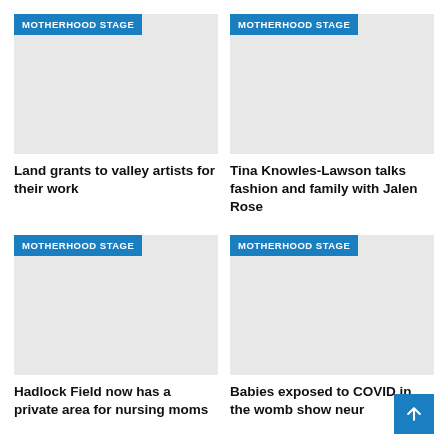[Figure (photo): Placeholder image with MOTHERHOOD STAGE badge - Land grants to valley artists]
Land grants to valley artists for their work
[Figure (photo): Placeholder image with MOTHERHOOD STAGE badge - Tina Knowles-Lawson]
Tina Knowles-Lawson talks fashion and family with Jalen Rose
[Figure (photo): Placeholder image with MOTHERHOOD STAGE badge - Hadlock Field]
Hadlock Field now has a private area for nursing moms
[Figure (photo): Placeholder image with MOTHERHOOD STAGE badge - Babies exposed to COVID]
Babies exposed to COVID in the womb show neur